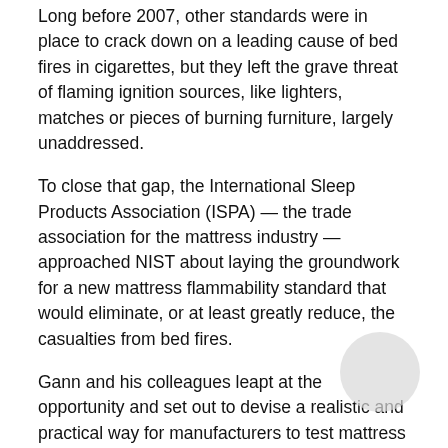Long before 2007, other standards were in place to crack down on a leading cause of bed fires in cigarettes, but they left the grave threat of flaming ignition sources, like lighters, matches or pieces of burning furniture, largely unaddressed.
To close that gap, the International Sleep Products Association (ISPA) — the trade association for the mattress industry — approached NIST about laying the groundwork for a new mattress flammability standard that would eliminate, or at least greatly reduce, the casualties from bed fires.
Gann and his colleagues leapt at the opportunity and set out to devise a realistic and practical way for manufacturers to test mattress flammability.
Since bed fires typically start with the ignition of blankets, sheets and other bedclothing items, the researchers aimed